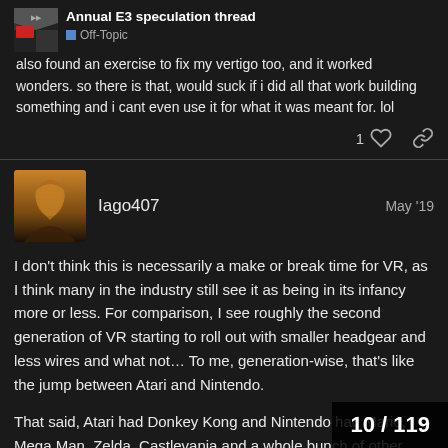also found an exercise to fix my vertigo too, and it worked wonders. so there is that, would suck if i did all that work building something and i cant even use it for what it was meant for. lol
Annual E3 speculation thread · Off-Topic
1 ♡ 🔗
Iago407   May '19
I don't think this is necessarily a make or break time for VR, as I think many in the industry still see it as being in its infancy more or less. For comparison, I see roughly the second generation of VR starting to roll out with smaller headgear and less wires and what not… To me, generation-wise, that's like the jump between Atari and Nintendo.
That said, Atari had Donkey Kong and Nintendo had Mario, Mega Man, Zelda, Castlevania and a whole bunch of other must-have titles. VR still doesn't have any killer app or experiences that are so good and so unique that experiencing it without a headset would be...
10 / 119